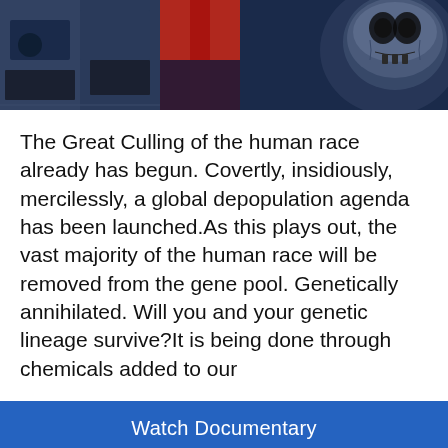[Figure (screenshot): Top banner with collage of documentary film stills: left panel shows dark cityscape/protest scenes in blue tones, center panel shows red and dark tones with vertical text 'culling', right panel shows a large skull image on dark blue background.]
The Great Culling of the human race already has begun. Covertly, insidiously, mercilessly, a global depopulation agenda has been launched.As this plays out, the vast majority of the human race will be removed from the gene pool. Genetically annihilated. Will you and your genetic lineage survive?It is being done through chemicals added to our
Watch Documentary
The Art of Deception
Conspiracy, Society  6.94